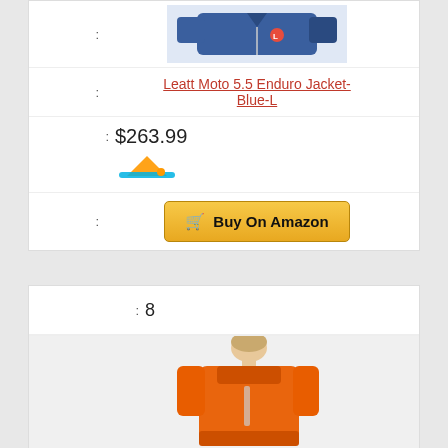[Figure (photo): Blue motorcycle jacket product image (Leatt Moto 5.5 Enduro Jacket)]
: Leatt Moto 5.5 Enduro Jacket-Blue-L
: $263.99
[Figure (logo): Amazon seller/brand logo (orange and blue triangular shape)]
: Buy On Amazon (button)
: 8
[Figure (photo): Orange jacket product image, person wearing orange jacket seen from behind]